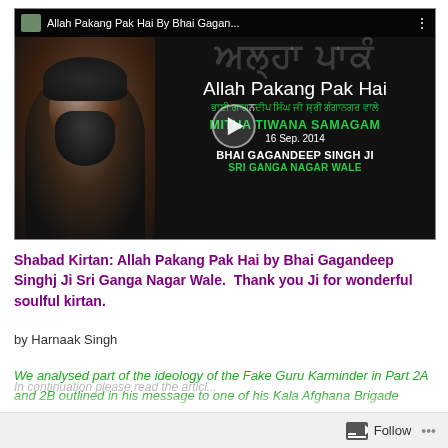[Figure (screenshot): YouTube video thumbnail showing Bhai Gagandeep Singh Ji with text 'Allah Pakang Pak Hai', 'MITHA TIWANA SAMAGAM', '16 Sep. 2014', 'BHAI GAGANDEEP SINGH JI SRI GANGA NAGAR WALE' on a dark background with a play button overlay]
Shabad Kirtan: Allah Pakang Pak Hai by Bhai Gagandeep Singhj Ji Sri Ganga Nagar Wale. Thank you Ji for wonderful soulful kirtan.
by Harnaak Singh
We analysed part of the ideology of the Fake Guru Karminder in Part 2A and 2B outlined in his message to one of his Kala Afghana Brigade members.